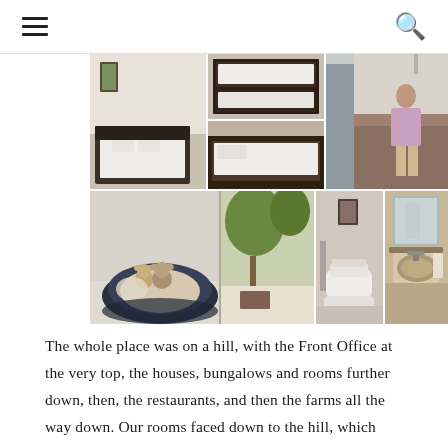navigation header with hamburger menu and search icon
[Figure (photo): Photo collage of hotel/bungalow rooms: bedroom with double bed, bunk beds, corridor with person, seating area with round sofa and stuffed animals, outdoor patio, bathroom with toilet, bathroom with sink/mirror]
The whole place was on a hill, with the Front Office at the very top, the houses, bungalows and rooms further down, then, the restaurants, and then the farms all the way down. Our rooms faced down to the hill, which